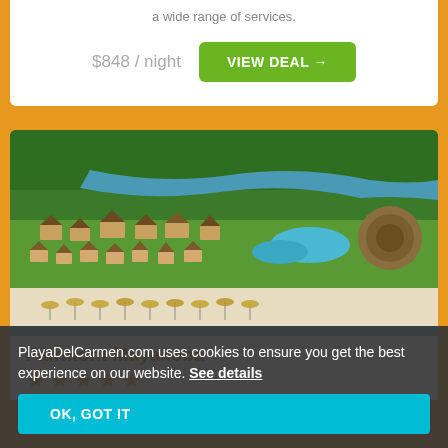a wide range of services.
$848 / night
VIEW DEAL →
[Figure (photo): Aerial view of a beachfront resort with thatched-roof bungalows, swimming pools, lush green jungle, and turquoise ocean water — Fairmont Mayakoba]
Fairmont Mayakoba
★★★★★
PlayaDelCarmen.com uses cookies to ensure you get the best experience on our website. See details
OK, GOT IT